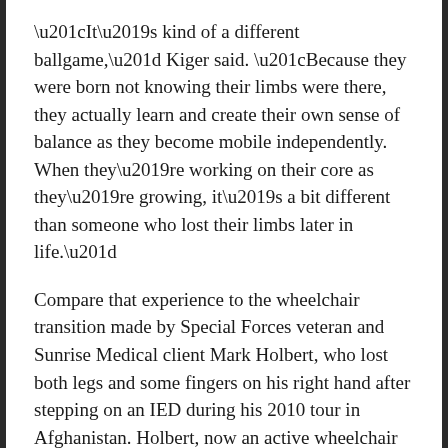“It’s kind of a different ballgame,” Kiger said. “Because they were born not knowing their limbs were there, they actually learn and create their own sense of balance as they become mobile independently. When they’re working on their core as they’re growing, it’s a bit different than someone who lost their limbs later in life.”
Compare that experience to the wheelchair transition made by Special Forces veteran and Sunrise Medical client Mark Holbert, who lost both legs and some fingers on his right hand after stepping on an IED during his 2010 tour in Afghanistan. Holbert, now an active wheelchair user who prefers a folding-frame ultralightweight manual chair, has had to try out several products to figure out the right solution for his lifestyle.